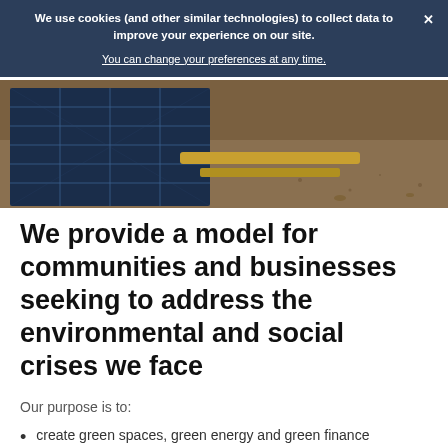We use cookies (and other similar technologies) to collect data to improve your experience on our site. You can change your preferences at any time.
[Figure (photo): Photo of solar panels lying on dusty ground with metal pipes/tools visible]
We provide a model for communities and businesses seeking to address the environmental and social crises we face
Our purpose is to:
create green spaces, green energy and green finance solutions.
inspire & empower urban communities to turn climate